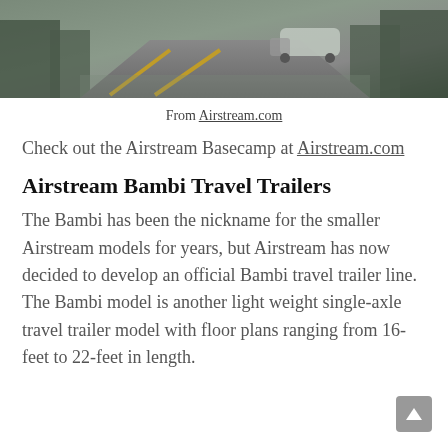[Figure (photo): Photo of an Airstream trailer being towed on a wet road through a forested area]
From Airstream.com
Check out the Airstream Basecamp at Airstream.com
Airstream Bambi Travel Trailers
The Bambi has been the nickname for the smaller Airstream models for years, but Airstream has now decided to develop an official Bambi travel trailer line. The Bambi model is another light weight single-axle travel trailer model with floor plans ranging from 16-feet to 22-feet in length.